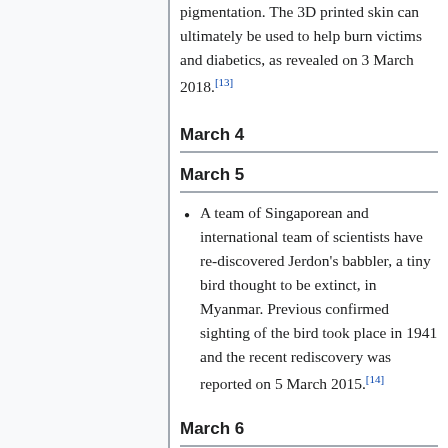pigmentation. The 3D printed skin can ultimately be used to help burn victims and diabetics, as revealed on 3 March 2018.[13]
March 4
March 5
A team of Singaporean and international team of scientists have re-discovered Jerdon's babbler, a tiny bird thought to be extinct, in Myanmar. Previous confirmed sighting of the bird took place in 1941 and the recent rediscovery was reported on 5 March 2015.[14]
March 6
March 7
March 8